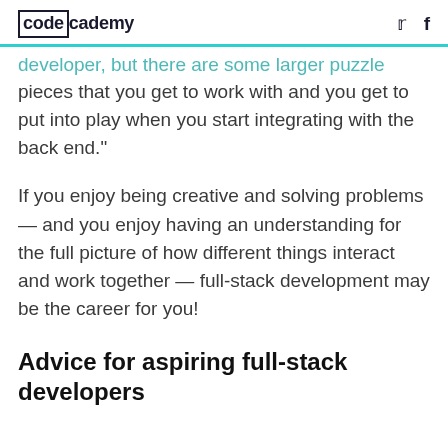codecademy
developer, but there are some larger puzzle pieces that you get to work with and you get to put into play when you start integrating with the back end."
If you enjoy being creative and solving problems — and you enjoy having an understanding for the full picture of how different things interact and work together — full-stack development may be the career for you!
Advice for aspiring full-stack developers